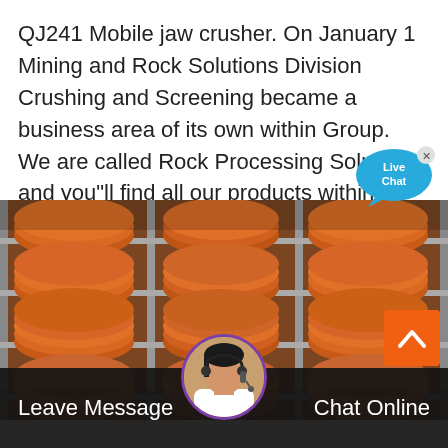QJ241 Mobile jaw crusher. On January 1 Mining and Rock Solutions Division Crushing and Screening became a business area of its own within Group. We are called Rock Processing Solutions and you"ll find all our products within Stationary Crushing and Screening, Mobile Crushing and Screening and Attachment Tools (Breakers ...
[Figure (photo): Stacked orange/brown jaw crusher wear parts (toggle plates or similar) arranged on metal shelving/racks in an industrial setting.]
[Figure (infographic): Live Chat bubble icon in blue with text 'Live Chat' and an X close button.]
[Figure (photo): Customer service agent avatar photo, a woman with headset, circular crop with purple border.]
Leave Message
Chat Online